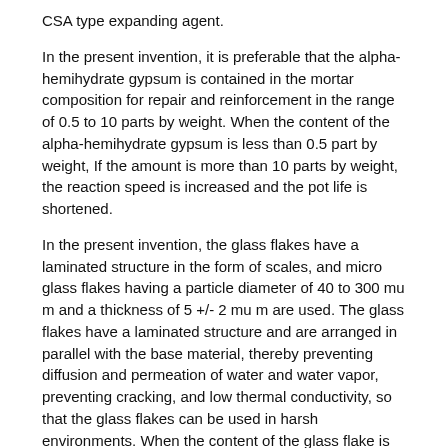CSA type expanding agent.
In the present invention, it is preferable that the alpha-hemihydrate gypsum is contained in the mortar composition for repair and reinforcement in the range of 0.5 to 10 parts by weight. When the content of the alpha-hemihydrate gypsum is less than 0.5 part by weight, If the amount is more than 10 parts by weight, the reaction speed is increased and the pot life is shortened.
In the present invention, the glass flakes have a laminated structure in the form of scales, and micro glass flakes having a particle diameter of 40 to 300 mu m and a thickness of 5 +/- 2 mu m are used. The glass flakes have a laminated structure and are arranged in parallel with the base material, thereby preventing diffusion and permeation of water and water vapor, preventing cracking, and low thermal conductivity, so that the glass flakes can be used in harsh environments. When the content of the glass flake is less than 0.1 parts by weight, the function of the glass flake can not be properly exhibited. When the content of the glass flakes exceeds 5 parts by weight There is a problem that workability is poor.